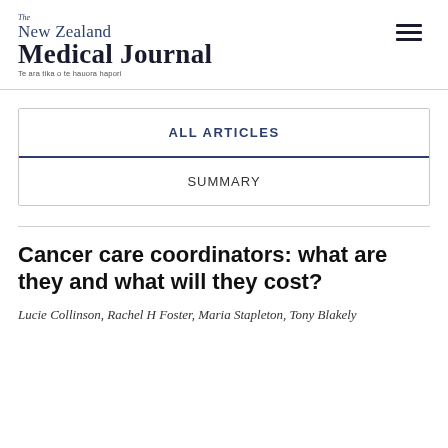The New Zealand Medical Journal — Te ara tika o te hauora hapori
ALL ARTICLES
SUMMARY
Cancer care coordinators: what are they and what will they cost?
Lucie Collinson, Rachel H Foster, Maria Stapleton, Tony Blakely